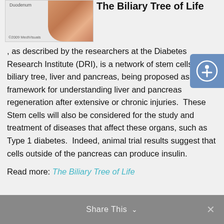[Figure (photo): Medical illustration showing duodenum labeled, with a hand/finger, copyright 2009 MediVisuals]
The Biliary Tree of Life, as described by the researchers at the Diabetes Research Institute (DRI), is a network of stem cells in the biliary tree, liver and pancreas, being proposed as a framework for understanding liver and pancreas regeneration after extensive or chronic injuries. These Stem cells will also be considered for the study and treatment of diseases that affect these organs, such as Type 1 diabetes. Indeed, animal trial results suggest that cells outside of the pancreas can produce insulin.
Read more: The Biliary Tree of Life
Share This ∨  ×